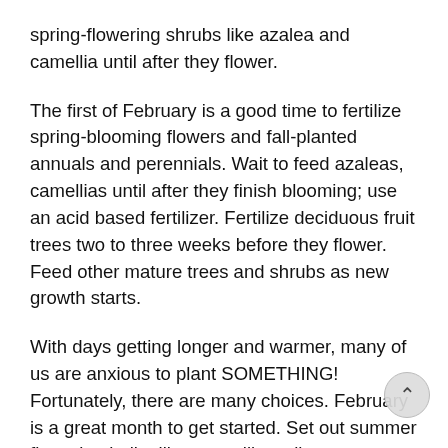spring-flowering shrubs like azalea and camellia until after they flower.
The first of February is a good time to fertilize spring-blooming flowers and fall-planted annuals and perennials. Wait to feed azaleas, camellias until after they finish blooming; use an acid based fertilizer. Fertilize deciduous fruit trees two to three weeks before they flower. Feed other mature trees and shrubs as new growth starts.
With days getting longer and warmer, many of us are anxious to plant SOMETHING! Fortunately, there are many choices. February is a great month to get started. Set out summer flowering bulbs like amaryllis, calla, canna, dahlia, gladiolus, lily, tuberose, tuberous begonia, and tiger flower. Bare-root vegetables such as artichoke, asparagus, horseradish, and rhubarb can be planted now as well. You could plant spring flowering perennials, like bleeding hea coral bells, campanula and perennial dianthus. This is also a good